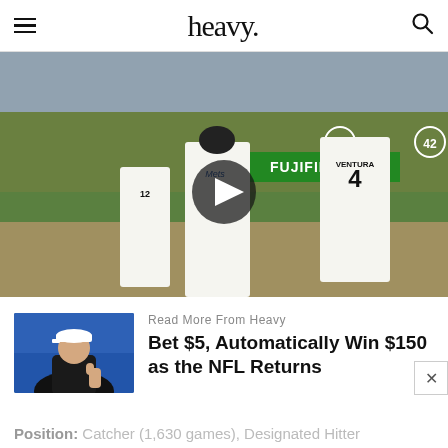heavy.
[Figure (screenshot): Video thumbnail showing New York Mets baseball players on field including player #4 (VENTURA) and player #12, with a play button overlay and FUJIFILM advertisement banner visible in the background crowded stadium.]
[Figure (photo): Thumbnail photo of a person in dark jacket and white cap gesturing with thumbs up in front of a crowd at a baseball stadium.]
Read More From Heavy
Bet $5, Automatically Win $150 as the NFL Returns
Position: Catcher (1,630 games), Designated Hitter